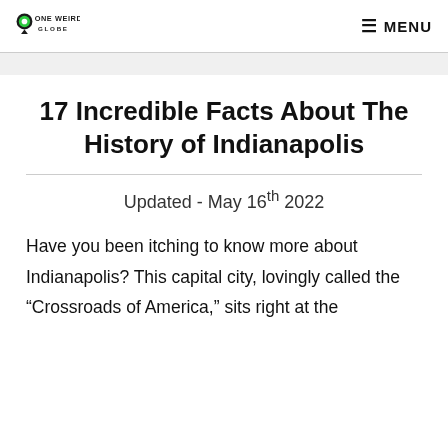ONE WEIRD GLOBE | MENU
17 Incredible Facts About The History of Indianapolis
Updated - May 16th 2022
Have you been itching to know more about Indianapolis? This capital city, lovingly called the “Crossroads of America,” sits right at the